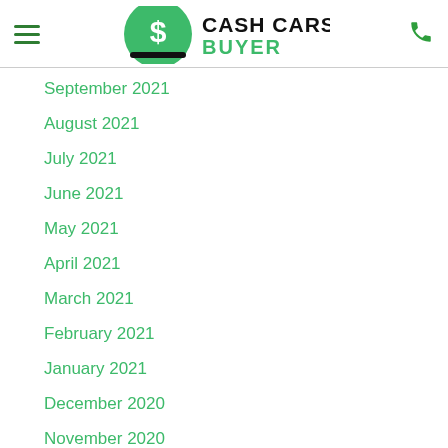Cash Cars Buyer - navigation header with hamburger menu and phone icon
September 2021
August 2021
July 2021
June 2021
May 2021
April 2021
March 2021
February 2021
January 2021
December 2020
November 2020
October 2020